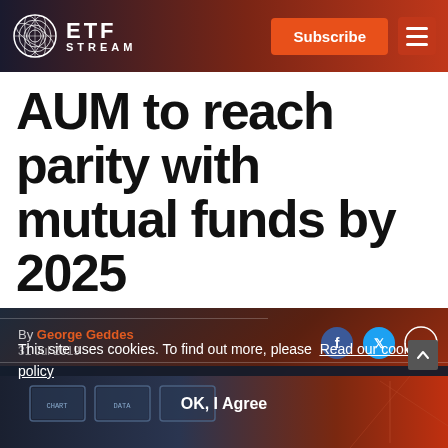ETF STREAM — Subscribe
AUM to reach parity with mutual funds by 2025
By George Geddes
31 Jul 2019
This site uses cookies. To find out more, please Read our cookie policy
OK, I Agree
[Figure (photo): Background photo of financial trading screens/monitors, partially visible at the bottom of the page]